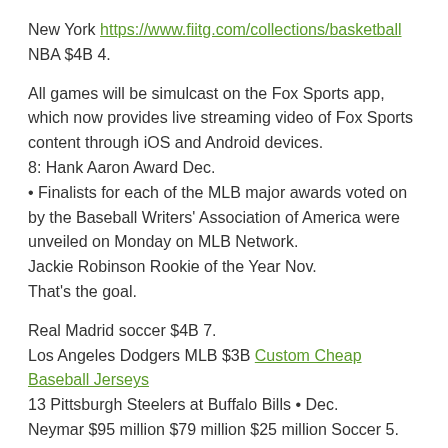New York https://www.fiitg.com/collections/basketball NBA $4B 4.
All games will be simulcast on the Fox Sports app, which now provides live streaming video of Fox Sports content through iOS and Android devices.
8: Hank Aaron Award Dec.
• Finalists for each of the MLB major awards voted on by the Baseball Writers' Association of America were unveiled on Monday on MLB Network.
Jackie Robinson Rookie of the Year Nov.
That's the goal.
Real Madrid soccer $4B 7.
Los Angeles Dodgers MLB $3B Custom Cheap Baseball Jerseys
13 Pittsburgh Steelers at Buffalo Bills • Dec.
Neymar $95 million $79 million $25 million Soccer 5.
Real Madrid soccer